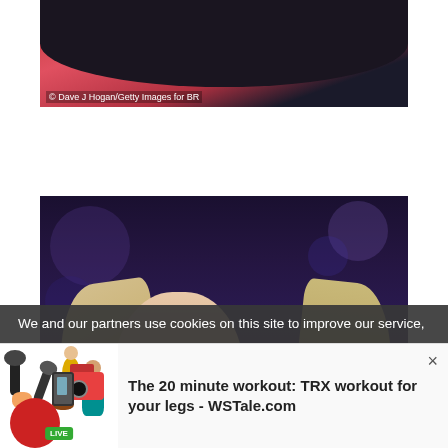[Figure (photo): Partial photo of a person (dark silhouette) against a red/pink stage background, with photo credit '© Dave J Hogan/Getty Images for BR' in the lower left corner]
© Dave J Hogan/Getty Images for BR
[Figure (photo): Photo of a woman (Adele) with blonde hair, eyes closed, appearing emotional, against a dark purple/blue bokeh background]
We and our partners use cookies on this site to improve our service,
[Figure (illustration): Cartoon illustration of media/journalist figures with microphones, camera, phone, and a LIVE badge]
The 20 minute workout: TRX workout for your legs - WSTale.com